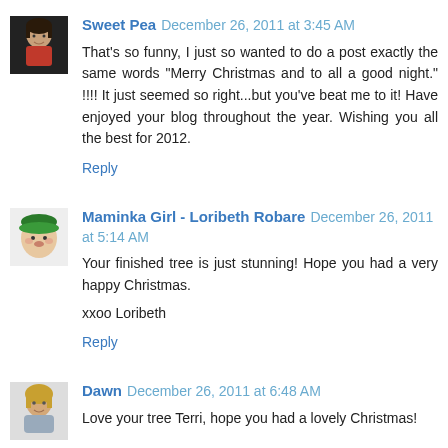[Figure (photo): Small avatar photo of a child with dark hair and red clothing]
Sweet Pea December 26, 2011 at 3:45 AM
That's so funny, I just so wanted to do a post exactly the same words "Merry Christmas and to all a good night." !!!! It just seemed so right...but you've beat me to it! Have enjoyed your blog throughout the year. Wishing you all the best for 2012.
Reply
[Figure (photo): Small avatar photo of a person with white and green decoration]
Maminka Girl - Loribeth Robare December 26, 2011 at 5:14 AM
Your finished tree is just stunning! Hope you had a very happy Christmas.
xxoo Loribeth
Reply
[Figure (photo): Small avatar photo of a woman with blonde hair]
Dawn December 26, 2011 at 6:48 AM
Love your tree Terri, hope you had a lovely Christmas!